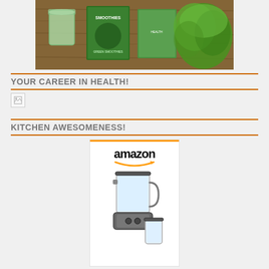[Figure (photo): Green smoothie in a cup alongside green smoothie recipe books and fresh green lettuce on a wooden surface]
YOUR CAREER IN HEALTH!
[Figure (photo): Broken/missing image placeholder]
KITCHEN AWESOMENESS!
[Figure (photo): Amazon product listing showing a blender with the Amazon logo and smile]